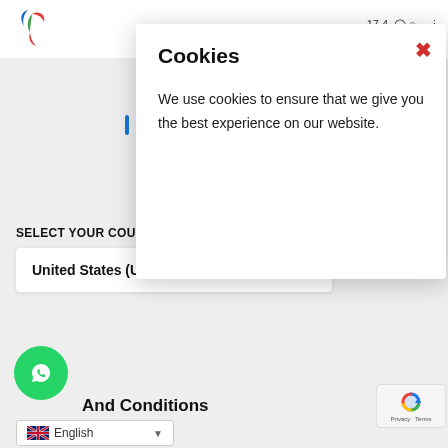[Figure (logo): Colorful circular logo with red and blue/green swoosh on white background]
17 4  [icons] —  :
Cookies
We use cookies to ensure that we give you the best experience on our website.
SELECT YOUR COUNTRY & CURRENCY
United States (US)
[Figure (logo): WhatsApp green circular button icon]
And Conditions
[Figure (logo): reCAPTCHA badge with Privacy · Terms]
English